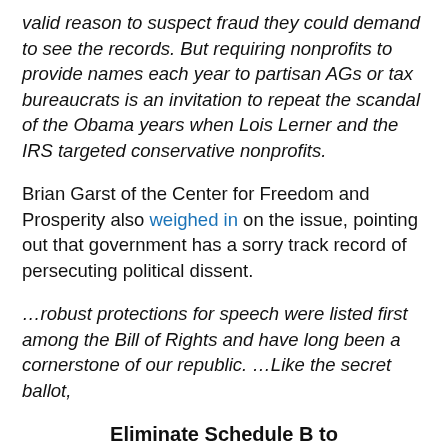valid reason to suspect fraud they could demand to see the records. But requiring nonprofits to provide names each year to partisan AGs or tax bureaucrats is an invitation to repeat the scandal of the Obama years when Lois Lerner and the IRS targeted conservative nonprofits.
Brian Garst of the Center for Freedom and Prosperity also weighed in on the issue, pointing out that government has a sorry track record of persecuting political dissent.
…robust protections for speech were listed first among the Bill of Rights and have long been a cornerstone of our republic. …Like the secret ballot,
Eliminate Schedule B to Protect Public Debate
respecting donor privacy and thus anonymous speech and association is essential to prevent majoritarian abuse and